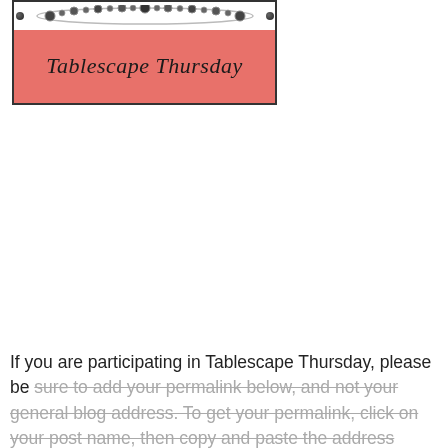[Figure (illustration): Tablescape Thursday banner with pink background and script text reading 'Tablescape Thursday', with a decorative necklace/jewel border at top]
If you are participating in Tablescape Thursday, please be sure to add your permalink below, and not your general blog address. To get your permalink, click on your post name, then copy and paste the address showing in the address